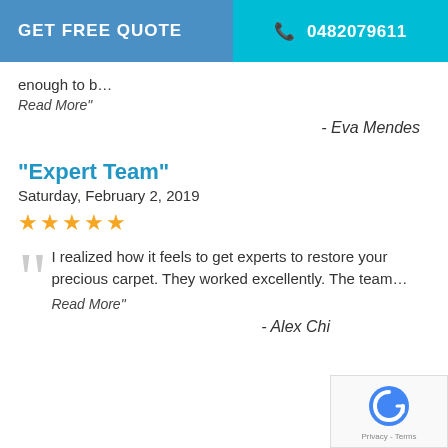GET FREE QUOTE  ☎ 0482079611
enough to b…
Read More"
- Eva Mendes
“Expert Team”
Saturday, February 2, 2019
★★★★★
I realized how it feels to get experts to restore your precious carpet. They worked excellently. The team…
Read More"
- Alex Chi…